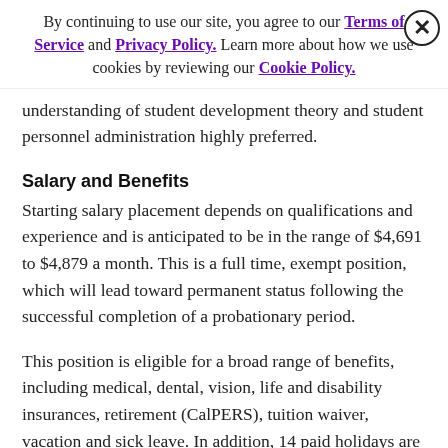By continuing to use our site, you agree to our Terms of Service and Privacy Policy. Learn more about how we use cookies by reviewing our Cookie Policy.
understanding of student development theory and student personnel administration highly preferred.
Salary and Benefits
Starting salary placement depends on qualifications and experience and is anticipated to be in the range of $4,691 to $4,879 a month. This is a full time, exempt position, which will lead toward permanent status following the successful completion of a probationary period.
This position is eligible for a broad range of benefits, including medical, dental, vision, life and disability insurances, retirement (CalPERS), tuition waiver, vacation and sick leave. In addition, 14 paid holidays are offered each year; 13 scheduled on specific days and a Personal Holiday that may be taken any time